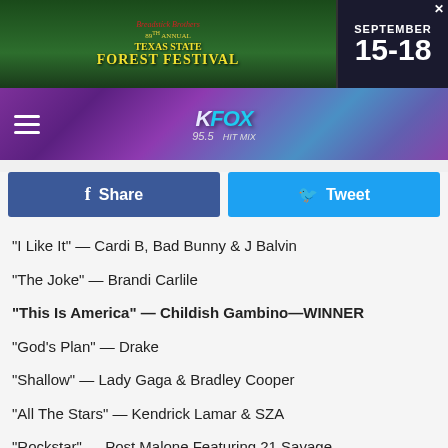[Figure (screenshot): Texas State Forest Festival advertisement banner with date September 15-18]
[Figure (screenshot): KFOX 95.5 radio station header with hamburger menu and logo]
[Figure (other): Facebook Share button (blue) and Twitter Tweet button (light blue)]
"I Like It" — Cardi B, Bad Bunny & J Balvin
"The Joke" — Brandi Carlile
"This Is America" — Childish Gambino—WINNER
"God's Plan" — Drake
"Shallow" — Lady Gaga & Bradley Cooper
"All The Stars" — Kendrick Lamar & SZA
"Rockstar" — Post Malone Featuring 21 Savage
"The Middle" — Zedd, Maren Morris & Grey
[Figure (screenshot): Pilgrim's Nacogdoches advertisement: $2500 Sign On Bonus For New Hires & Rehires! Apply Online. 936.558.6830 | 928 Martin Luther King Blvd. | pilgrims.com]